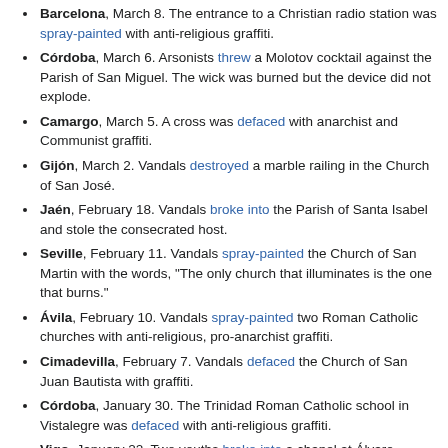Barcelona, March 8. The entrance to a Christian radio station was spray-painted with anti-religious graffiti.
Córdoba, March 6. Arsonists threw a Molotov cocktail against the Parish of San Miguel. The wick was burned but the device did not explode.
Camargo, March 5. A cross was defaced with anarchist and Communist graffiti.
Gijón, March 2. Vandals destroyed a marble railing in the Church of San José.
Jaén, February 18. Vandals broke into the Parish of Santa Isabel and stole the consecrated host.
Seville, February 11. Vandals spray-painted the Church of San Martin with the words, "The only church that illuminates is the one that burns."
Ávila, February 10. Vandals spray-painted two Roman Catholic churches with anti-religious, pro-anarchist graffiti.
Cimadevilla, February 7. Vandals defaced the Church of San Juan Bautista with graffiti.
Córdoba, January 30. The Trinidad Roman Catholic school in Vistalegre was defaced with anti-religious graffiti.
Vigo, January 22. Two youths broke into a chapel at Álvaro Cunqueiro Hospital and stole the consecrated host.
Pasaia, January 22. Vandals threw a Jesus statue into the town's harbor.
Almería, January 20. Arsonists attempted to burn down the hermitage of Torregarcia; arsonists previously tried to burn down the chapel on January 11.